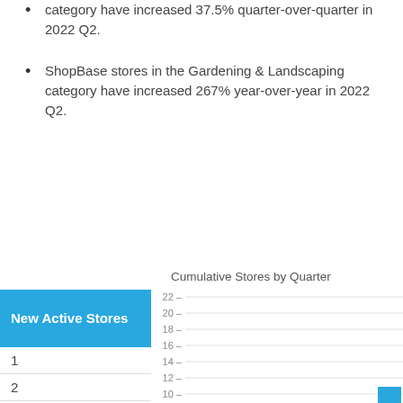category have increased 37.5% quarter-over-quarter in 2022 Q2.
ShopBase stores in the Gardening & Landscaping category have increased 267% year-over-year in 2022 Q2.
[Figure (bar-chart): Partial bar chart showing cumulative stores by quarter, y-axis from 10 to 22, with one visible blue bar at the far right near value 10+]